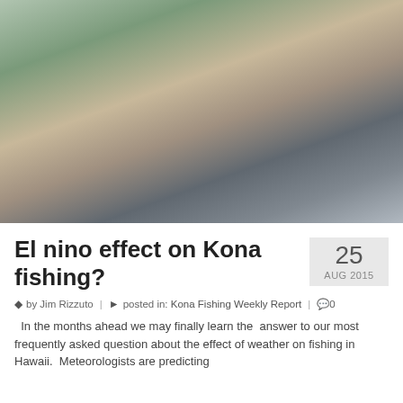[Figure (photo): A woman in a floral outfit and sunglasses stands next to a very large marlin or swordfish hung at a marina dock, with boats visible in the background.]
El nino effect on Kona fishing?
25 AUG 2015
by Jim Rizzuto | posted in: Kona Fishing Weekly Report | 0
In the months ahead we may finally learn the answer to our most frequently asked question about the effect of weather on fishing in Hawaii. Meteorologists are predicting